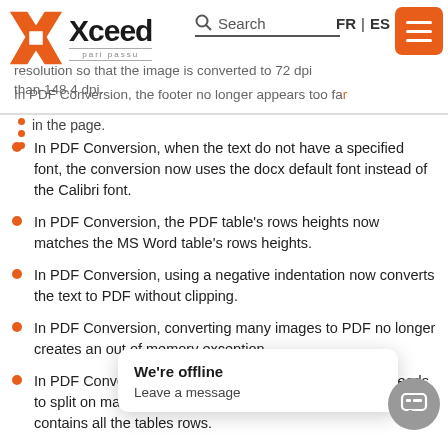Xceed | Search | FR | ES
resolution so that the image is converted to 72 dpi rather than 148.4 dpi. In PDF Conversion, the footer no longer appears too far down in the page.
In PDF Conversion, when the text do not have a specified font, the conversion now uses the docx default font instead of the Calibri font.
In PDF Conversion, the PDF table's rows heights now matches the MS Word table's rows heights.
In PDF Conversion, using a negative indentation now converts the text to PDF without clipping.
In PDF Conversion, converting many images to PDF no longer creates an out of memory exception.
In PDF Conversion, when many big consecutive tables needs to split on many pages, the resulting PDF document now contains all the tables rows.
In Picture, the new ... be to get/set an Hype...
We're offline
Leave a message